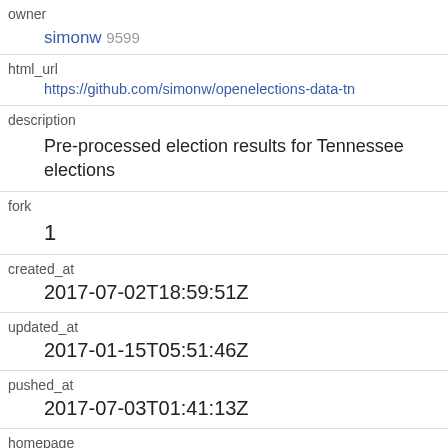| field | value |
| --- | --- |
| owner | simonw 9599 |
| html_url | https://github.com/simonw/openelections-data-tn |
| description | Pre-processed election results for Tennessee elections |
| fork | 1 |
| created_at | 2017-07-02T18:59:51Z |
| updated_at | 2017-01-15T05:51:46Z |
| pushed_at | 2017-07-03T01:41:13Z |
| homepage |  |
| size | 889 |
| stargazers_count | 0 |